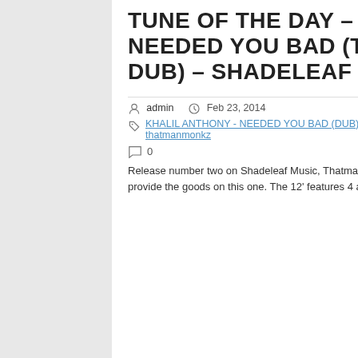TUNE OF THE DAY – KHALIL ANTHONY – NEEDED YOU BAD (THATMAN MONKZ DUB) – SHADELEAF MUSIC
admin  Feb 23, 2014
KHALIL ANTHONY - NEEDED YOU BAD (DUB), Shadeleaf Music, thatmanmonkz
0
Release number two on Shadeleaf Music, Thatmanmonkz's hot new imprint, and boy does he provide the goods on this one. The 12' features 4 amazing